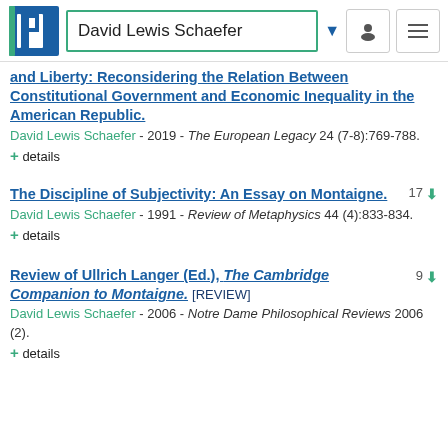David Lewis Schaefer
and Liberty: Reconsidering the Relation Between Constitutional Government and Economic Inequality in the American Republic.
David Lewis Schaefer - 2019 - The European Legacy 24 (7-8):769-788.
+ details
The Discipline of Subjectivity: An Essay on Montaigne. 17
David Lewis Schaefer - 1991 - Review of Metaphysics 44 (4):833-834.
+ details
Review of Ullrich Langer (Ed.), The Cambridge Companion to Montaigne. [REVIEW] 9
David Lewis Schaefer - 2006 - Notre Dame Philosophical Reviews 2006 (2).
+ details